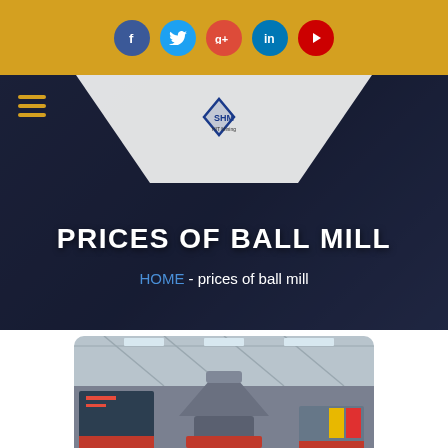[Figure (screenshot): Social media icon bar with Facebook, Twitter, Google+, LinkedIn, YouTube circular icons on golden/amber background]
[Figure (logo): SHM company logo inside white triangle shape on dark blue hero header]
PRICES OF BALL MILL
HOME  -  prices of ball mill
[Figure (photo): Industrial factory interior showing heavy machinery including what appears to be a cone crusher or ball mill equipment in a warehouse setting]